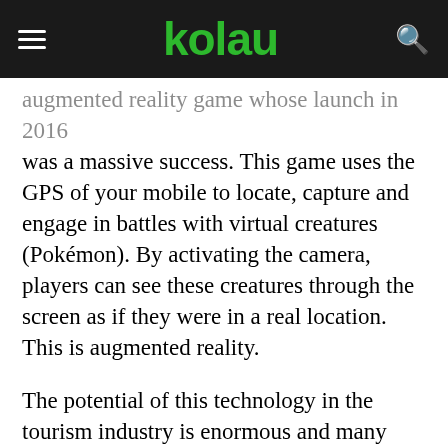kolau
augmented reality game whose launch in 2016 was a massive success. This game uses the GPS of your mobile to locate, capture and engage in battles with virtual creatures (Pokémon). By activating the camera, players can see these creatures through the screen as if they were in a real location. This is augmented reality.
The potential of this technology in the tourism industry is enormous and many tourist establishments are already using it to offer different experiences to tourists.  According to a Zenith analysis, in 2018 the pervasiveness of